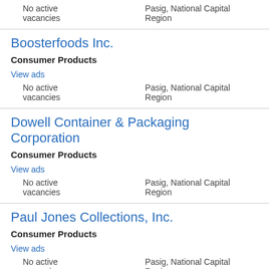No active vacancies    Pasig, National Capital Region
Boosterfoods Inc.
Consumer Products
View ads
No active vacancies    Pasig, National Capital Region
Dowell Container & Packaging Corporation
Consumer Products
View ads
No active vacancies    Pasig, National Capital Region
Paul Jones Collections, Inc.
Consumer Products
View ads
No active vacancies    Pasig, National Capital Region